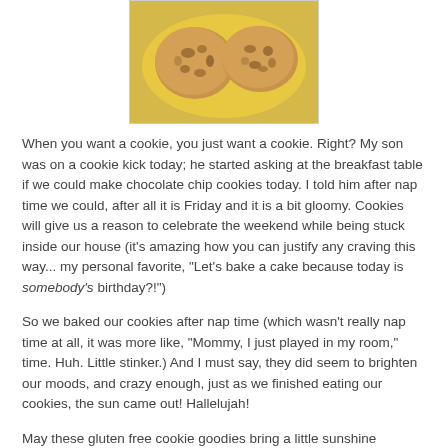[Figure (photo): Two chocolate chip cookies on a yellow plate, photographed from above.]
When you want a cookie, you just want a cookie. Right? My son was on a cookie kick today; he started asking at the breakfast table if we could make chocolate chip cookies today. I told him after nap time we could, after all it is Friday and it is a bit gloomy. Cookies will give us a reason to celebrate the weekend while being stuck inside our house (it's amazing how you can justify any craving this way... my personal favorite, "Let's bake a cake because today is somebody's birthday?!")
So we baked our cookies after nap time (which wasn't really nap time at all, it was more like, "Mommy, I just played in my room," time. Huh. Little stinker.) And I must say, they did seem to brighten our moods, and crazy enough, just as we finished eating our cookies, the sun came out! Hallelujah!
May these gluten free cookie goodies bring a little sunshine into your home too.